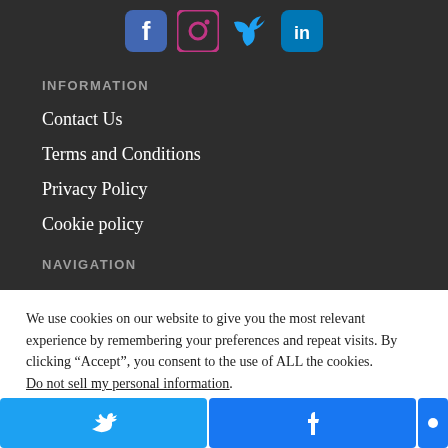[Figure (illustration): Social media icons: Facebook, Instagram, Twitter, LinkedIn in brand colors on dark background]
INFORMATION
Contact Us
Terms and Conditions
Privacy Policy
Cookie policy
NAVIGATION
We use cookies on our website to give you the most relevant experience by remembering your preferences and repeat visits. By clicking “Accept”, you consent to the use of ALL the cookies. Do not sell my personal information.
[Figure (other): Two toggle switches: one grey (off), one green (on)]
[Figure (other): Share buttons: Twitter (blue bird icon) and Facebook (blue f icon)]